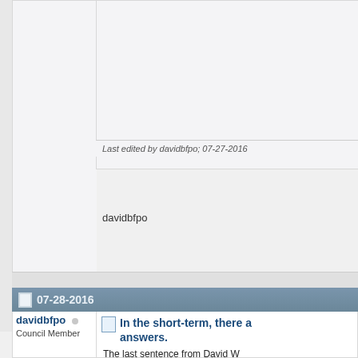Last edited by davidbfpo; 07-27-2016
davidbfpo
07-28-2016
davidbfpo
Council Member
[Figure (photo): Avatar photo of user davidbfpo showing a person in military helmet and yellow jacket]
Join Date: Mar 2006
Location: UK
Posts: 13,361
In the short-term, there are answers.
The last sentence from David W Australian e-bulletin of the Lowy Institute:http://www.lowyinterpre
A "taster":
While lone actors or self-concern, they typically s devices or get access to contacting known terroris Unfortunately, isolated a overseas have realised t and potentially Wurzburg